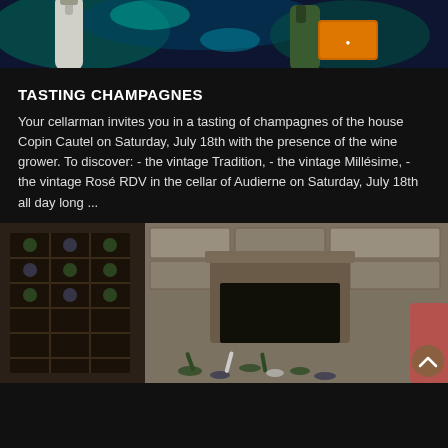[Figure (photo): Top portion of an image showing champagne bottles with dark blue background and teal/cyan highlights, with an orange-labeled bottle visible on the right.]
TASTING CHAMPAGNES
Your cellarman invites you in a tasting of champagnes of the house Copin Cautel on Saturday, July 18th with the presence of the wine grower. To discover: - the vintage Tradition, - the vintage Millésime, - the vintage Rosé RDV in the cellar of Audierne on Saturday, July 18th all day long ...
[Figure (photo): Interior of a wine cellar or shop with stone walls, wine bottle racks on the left, a fireplace in the center, and bottles scattered on the floor. A circular scroll-to-top button is visible in the bottom right corner.]